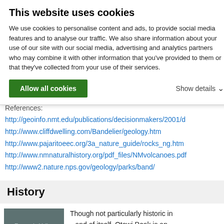This website uses cookies
We use cookies to personalise content and ads, to provide social media features and to analyse our traffic. We also share information about your use of our site with our social media, advertising and analytics partners who may combine it with other information that you've provided to them or that they've collected from your use of their services.
Allow all cookies
Show details
References:
http://geoinfo.nmt.edu/publications/decisionmakers/2001/d
http://www.cliffdwelling.com/Bandelier/geology.htm
http://www.pajaritoeec.org/3a_nature_guide/rocks_ng.htm
http://www.nmnaturalhistory.org/pdf_files/NMvolcanoes.pdf
http://www2.nature.nps.gov/geology/parks/band/
History
[Figure (photo): Espanola Valley photo thumbnail with grey overlay and label text]
Though not particularly historic in and of itself, Otowi Peak is an excellent spot to contemplate many centuries of Northern New Mexico history, with spectacular visual aids in all